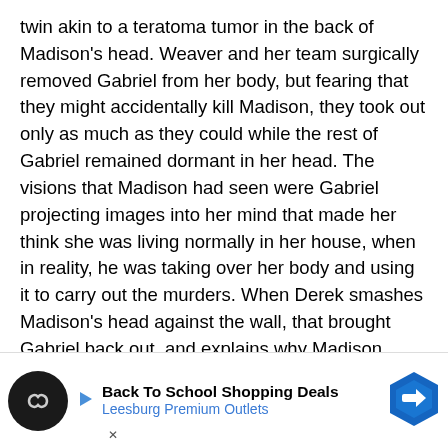twin akin to a teratoma tumor in the back of Madison's head. Weaver and her team surgically removed Gabriel from her body, but fearing that they might accidentally kill Madison, they took out only as much as they could while the rest of Gabriel remained dormant in her head. The visions that Madison had seen were Gabriel projecting images into her mind that made her think she was living normally in her house, when in reality, he was taking over her body and using it to carry out the murders. When Derek smashes Madison's head against the wall, that brought Gabriel back out, and explains why Madison always wakes up with her head bleeding after seeing what Gabriel did. As this happens, Shaw learns that the captive tour guide is Serena.

Madison is in a prison cell with other women, who quickly antagonize her, and two of them begin to assault her. Gabriel... face from th... all
[Figure (other): Advertisement banner for 'Back To School Shopping Deals' at Leesburg Premium Outlets, with a circular dark icon with infinity/loop symbol, small play/arrow icon, text content, and a blue hexagonal road sign icon. An X close button is visible at bottom left.]